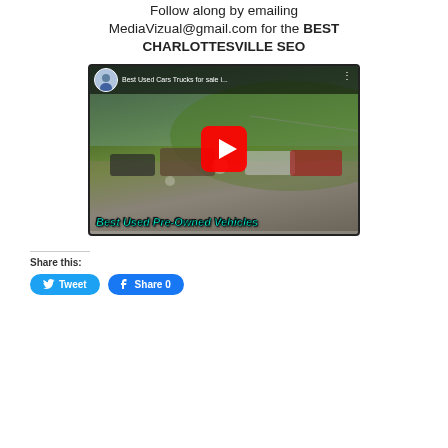Follow along by emailing MediaVizual@gmail.com for the BEST CHARLOTTESVILLE SEO
[Figure (screenshot): YouTube video thumbnail showing 'Best Used Cars Trucks for sale' with a red play button overlay and text 'Best Used Pre-Owned Vehicles' at the bottom]
Share this:
Tweet   Share 0